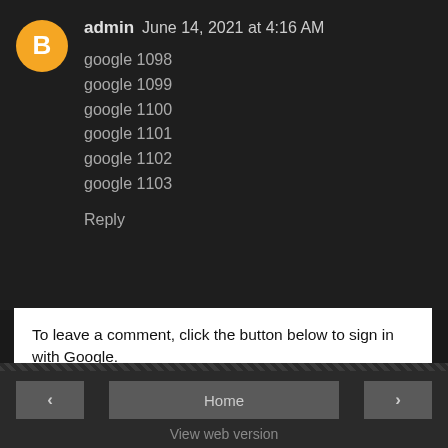admin June 14, 2021 at 4:16 AM
google 1098
google 1099
google 1100
google 1101
google 1102
google 1103
Reply
To leave a comment, click the button below to sign in with Google.
SIGN IN WITH GOOGLE
< | Home | > | View web version